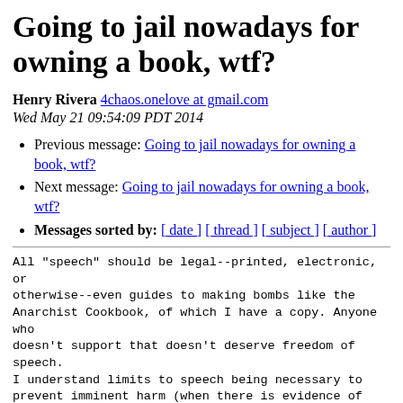Going to jail nowadays for owning a book, wtf?
Henry Rivera 4chaos.onelove at gmail.com
Wed May 21 09:54:09 PDT 2014
Previous message: Going to jail nowadays for owning a book, wtf?
Next message: Going to jail nowadays for owning a book, wtf?
Messages sorted by: [ date ] [ thread ] [ subject ] [ author ]
All "speech" should be legal--printed, electronic, or otherwise--even guides to making bombs like the Anarchist Cookbook, of which I have a copy. Anyone who doesn't support that doesn't deserve freedom of speech. I understand limits to speech being necessary to prevent imminent harm (when there is evidence of clear and present danger) like yelling fire in a crowded theater. However, this logic has been overextended and abused to the point where less-than-clear danger and just potential risk are enough to justify censorship of unpopular political speech. One more reason to nix the Terrorism Act.